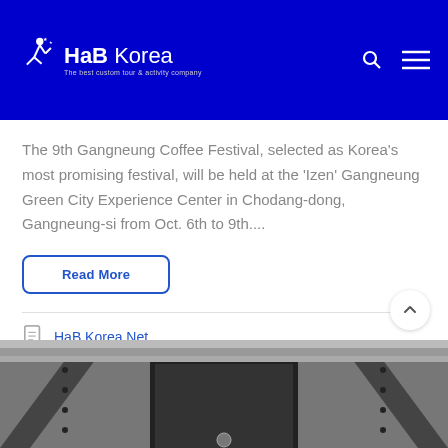HaB Korea — The best custom tour & activity company
The 9th Gangneung Coffee Festival, selected as Korea's most promising festival, will be held at the 'Izen' Gangneung Green City Experience Center in Chodang-dong, Gangneung-si from Oct. 6th to 9th....
Read More
HaB Korea.Net
[Figure (photo): Black and white photograph of a traditional Korean architectural gateway or temple entrance, viewed from below, showing wooden beams and traditional tile roof details.]